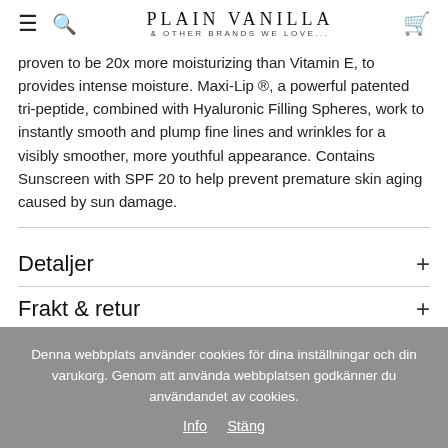PLAIN VANILLA & OTHER BRANDS WE LOVE...
proven to be 20x more moisturizing than Vitamin E, to provides intense moisture. Maxi-Lip ®, a powerful patented tri-peptide, combined with Hyaluronic Filling Spheres, work to instantly smooth and plump fine lines and wrinkles for a visibly smoother, more youthful appearance. Contains Sunscreen with SPF 20 to help prevent premature skin aging caused by sun damage.
Detaljer
Frakt & retur
Denna webbplats använder cookies för dina inställningar och din varukorg. Genom att använda webbplatsen godkänner du användandet av cookies. Info Stäng